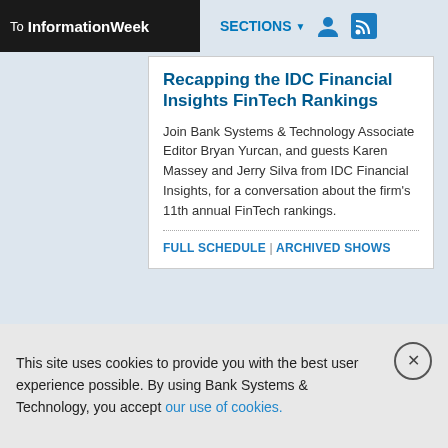To InformationWeek  SECTIONS
Recapping the IDC Financial Insights FinTech Rankings
Join Bank Systems & Technology Associate Editor Bryan Yurcan, and guests Karen Massey and Jerry Silva from IDC Financial Insights, for a conversation about the firm's 11th annual FinTech rankings.
FULL SCHEDULE | ARCHIVED SHOWS
This site uses cookies to provide you with the best user experience possible. By using Bank Systems & Technology, you accept our use of cookies.